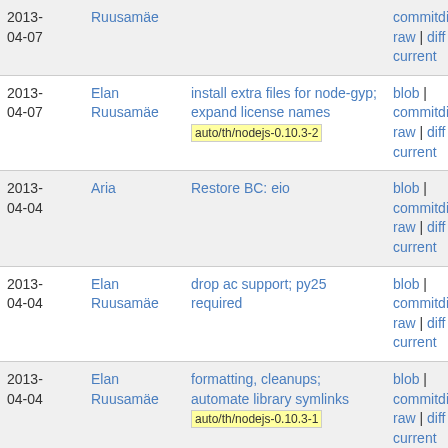| Date | Author | Commit message | Actions |
| --- | --- | --- | --- |
| 2013-04-07 | Elan Ruusamäe | [top cut off] | commitdiff | raw | diff to current |
| 2013-04-07 | Elan Ruusamäe | install extra files for node-gyp; expand license names  auto/th/nodejs-0.10.3-2 | blob | commitdiff | raw | diff to current |
| 2013-04-04 | Aria | Restore BC: eio | blob | commitdiff | raw | diff to current |
| 2013-04-04 | Elan Ruusamäe | drop ac support; py25 required | blob | commitdiff | raw | diff to current |
| 2013-04-04 | Elan Ruusamäe | formatting, cleanups; automate library symlinks  auto/th/nodejs-0.10.3-1 | blob | commitdiff | raw | diff to current |
| 2013-04-04 | Aria | v0.10.3 | blob | commitdiff | raw | diff to... |